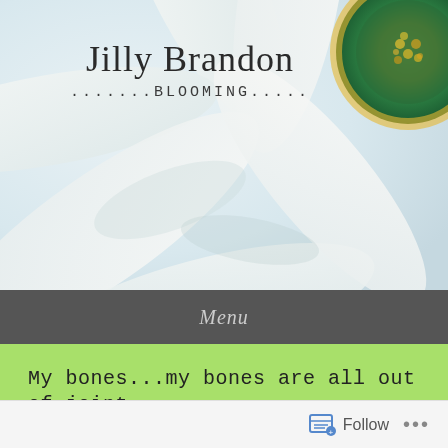[Figure (photo): Close-up photo of a white daisy flower with green and yellow center, petals spread across a light blue-grey background. The flower center is in the top-right corner.]
Jilly Brandon
.......BLOOMING.....
Menu
My bones...my bones are all out of joint
Posted on August 14, 2015 by jillybrandon
Follow ...